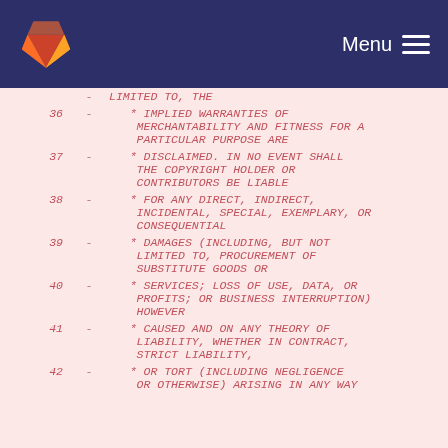GitLab — Menu
36  -    * IMPLIED WARRANTIES OF MERCHANTABILITY AND FITNESS FOR A PARTICULAR PURPOSE ARE
37  -    * DISCLAIMED. IN NO EVENT SHALL THE COPYRIGHT HOLDER OR CONTRIBUTORS BE LIABLE
38  -    * FOR ANY DIRECT, INDIRECT, INCIDENTAL, SPECIAL, EXEMPLARY, OR CONSEQUENTIAL
39  -    * DAMAGES (INCLUDING, BUT NOT LIMITED TO, PROCUREMENT OF SUBSTITUTE GOODS OR
40  -    * SERVICES; LOSS OF USE, DATA, OR PROFITS; OR BUSINESS INTERRUPTION) HOWEVER
41  -    * CAUSED AND ON ANY THEORY OF LIABILITY, WHETHER IN CONTRACT, STRICT LIABILITY,
42  -    * OR TORT (INCLUDING NEGLIGENCE OR OTHERWISE) ARISING IN ANY WAY